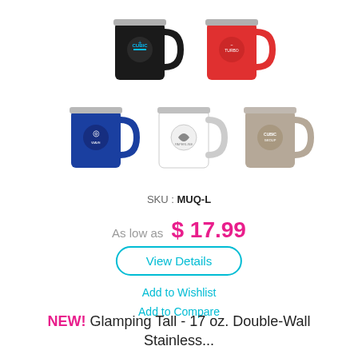[Figure (photo): Five insulated stainless steel camping mugs with logo imprints shown in two rows: top row has black and red mugs, bottom row has blue, white, and tan/beige mugs.]
SKU : MUQ-L
As low as  $ 17.99
View Details
Add to Wishlist
Add to Compare
NEW! Glamping Tall - 17 oz. Double-Wall Stainless...